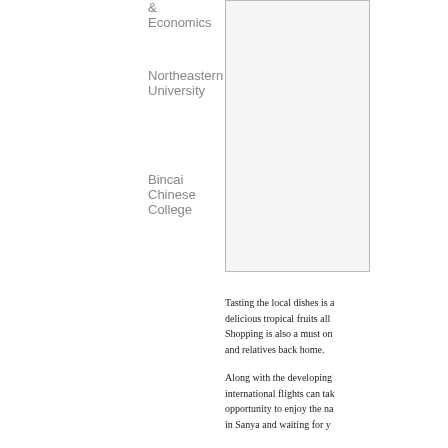& Economics
Northeastern University
Bincai Chinese College
[Figure (photo): A photo placeholder box on the right column, bordered rectangle]
Tasting the local dishes is a delicious tropical fruits all Shopping is also a must on and relatives back home.
Along with the developing international flights can tak opportunity to enjoy the na in Sanya and waiting for y
Brief Introduction of Haina
Hainan University Sanya C chairman of Geely Holding famous palaeoanthropolog undergraduate majors. Sind